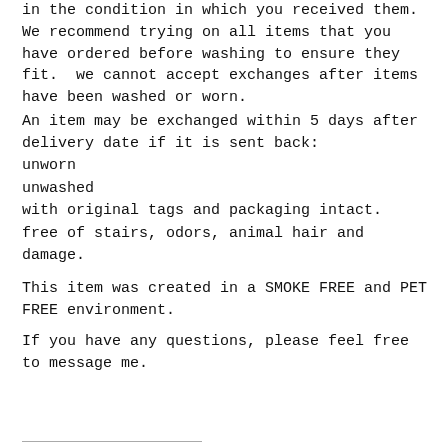in the condition in which you received them. We recommend trying on all items that you have ordered before washing to ensure they fit.  we cannot accept exchanges after items have been washed or worn.
An item may be exchanged within 5 days after delivery date if it is sent back:
unworn
unwashed
with original tags and packaging intact.
free of stairs, odors, animal hair and damage.
This item was created in a SMOKE FREE and PET FREE environment.
If you have any questions, please feel free to message me.